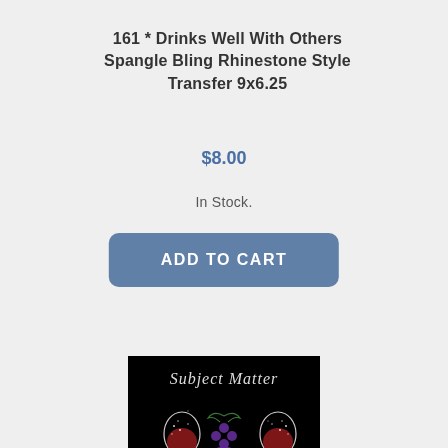161 * Drinks Well With Others Spangle Bling Rhinestone Style Transfer 9x6.25
$8.00
In Stock.
ADD TO CART
[Figure (photo): Product image on black background showing a rhinestone/spangle transfer design with two wine glasses, a grape cluster, the text 'Subject Matter Expert' in sparkly rhinestone style lettering, and 'SPANGLED' branding at the bottom.]